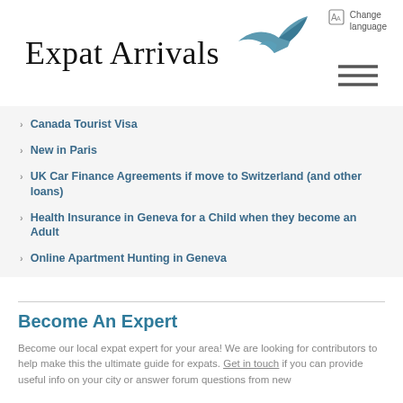Expat Arrivals
Canada Tourist Visa
New in Paris
UK Car Finance Agreements if move to Switzerland (and other loans)
Health Insurance in Geneva for a Child when they become an Adult
Online Apartment Hunting in Geneva
Become An Expert
Become our local expat expert for your area! We are looking for contributors to help make this the ultimate guide for expats. Get in touch if you can provide useful info on your city or answer forum questions from new